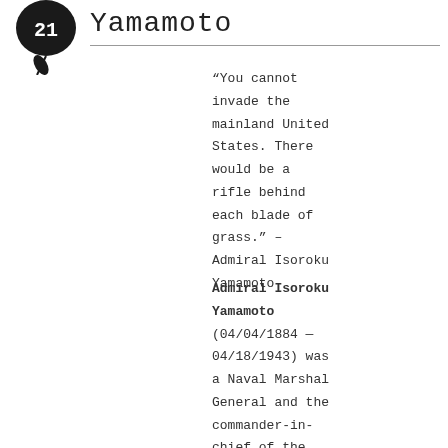[Figure (illustration): Black circular badge with the number 21 and a feather/leaf icon below it]
Yamamoto
“You cannot invade the mainland United States. There would be a rifle behind each blade of grass.” – Admiral Isoroku Yamamoto
Admiral Isoroku Yamamoto (04/04/1884 — 04/18/1943) was a Naval Marshal General and the commander-in-chief of the